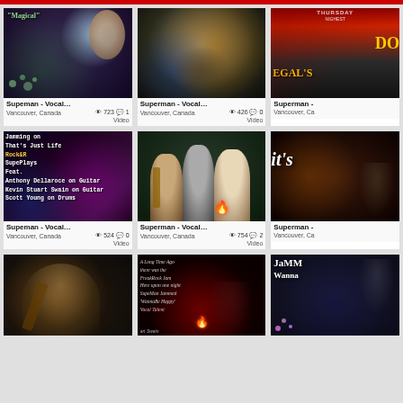[Figure (screenshot): Grid of video thumbnails with metadata showing Superman - Vocal videos from Vancouver, Canada. Row 1: Magical video (723 views, 1 comment), band performance (426 views, 0 comments), magazine cover partial. Row 2: Jamming on That's Just Life / Rock&R video (524 views, 0 comments), group photo with musicians (754 views, 2 comments), It's partial. Row 3: Guitar player photo, FreakRock Jam text overlay, Jamm Wanna text partial.]